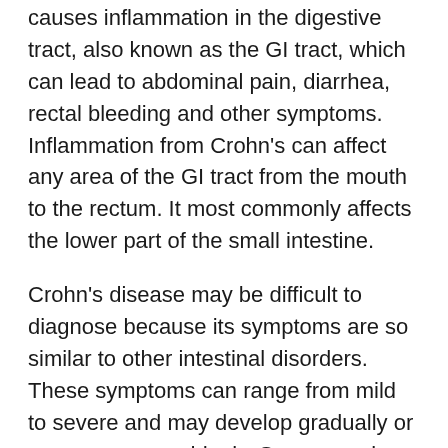causes inflammation in the digestive tract, also known as the GI tract, which can lead to abdominal pain, diarrhea, rectal bleeding and other symptoms. Inflammation from Crohn's can affect any area of the GI tract from the mouth to the rectum. It most commonly affects the lower part of the small intestine.
Crohn's disease may be difficult to diagnose because its symptoms are so similar to other intestinal disorders. These symptoms can range from mild to severe and may develop gradually or can come on suddenly. Some people with Crohn's may experience periods of remission where they have no symptoms.
Warning Signs and Symptoms